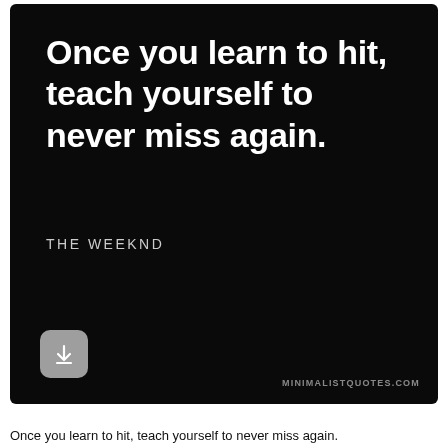Once you learn to hit, teach yourself to never miss again.
THE WEEKND
MINIMALISTQUOTES.COM
Once you learn to hit, teach yourself to never miss again.